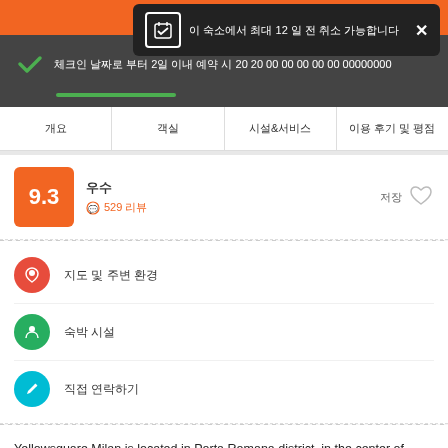[Figure (screenshot): Orange button bar at top with Korean text]
[Figure (screenshot): Dark tooltip popup with calendar icon and Korean text about 12, with X close button]
[Figure (screenshot): Dark bar with green checkmark and Korean check-in text with progress bar]
개요 | 객실 | 시설&서비스 | 이용 후기 및 평점
[Figure (screenshot): Rating score 9.3 orange box with rating label and 529 reviews, heart/save button]
지도 및 주변 환경
숙박 시설
직접 연락하기
Yellowsquare Milan is located in Porta Romana district, in the center of Milan; it serves as a hub for traveling people with a mixture of shared bunk style rooms and private accommodations. It's a great spot for creative professionals, digital nomads, and solo travelers looking for